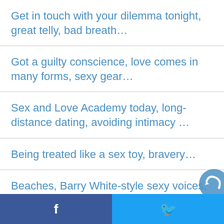Get in touch with your dilemma tonight, great telly, bad breath…
Got a guilty conscience, love comes in many forms, sexy gear…
Sex and Love Academy today, long-distance dating, avoiding intimacy …
Being treated like a sex toy, bravery…
Beaches, Barry White-style sexy voices, bullies….
Fab to be back, is your man blowing hot and cold, some mind blowing bikes to take…